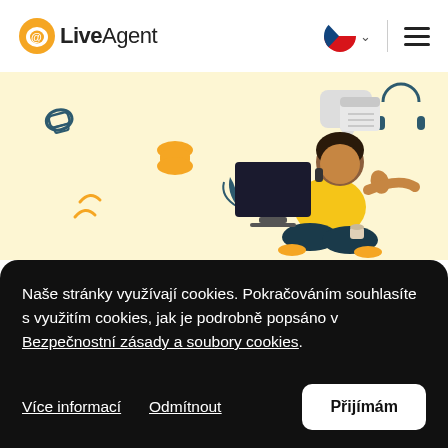LiveAgent
[Figure (illustration): LiveAgent website hero banner with a yellow/cream background showing a woman in a yellow top sitting cross-legged at a computer, talking on the phone, surrounded by retro telephone icons and other decorative elements in yellow and dark teal.]
Naše stránky využívají cookies. Pokračováním souhlasíte s využitím cookies, jak je podrobně popsáno v Bezpečnostní zásady a soubory cookies.
Více informací
Odmítnout
Přijímám